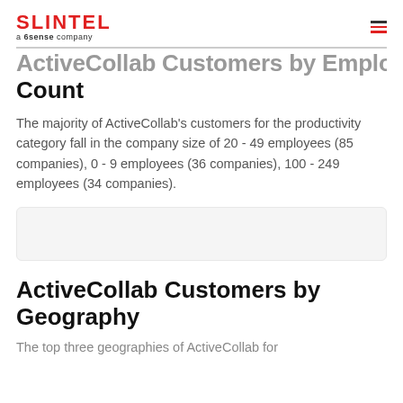SLINTEL a 6sense company
ActiveCollab Customers by Employee Count
The majority of ActiveCollab's customers for the productivity category fall in the company size of 20 - 49 employees (85 companies), 0 - 9 employees (36 companies), 100 - 249 employees (34 companies).
[Figure (other): Gray placeholder box representing a chart area]
ActiveCollab Customers by Geography
The top three geographies of ActiveCollab for